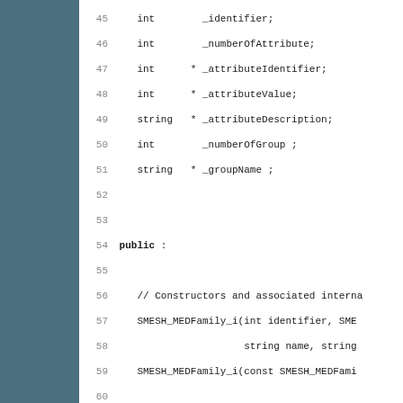[Figure (other): Teal/slate colored sidebar panel on the left side of the page]
Code listing lines 45-76 showing C++ class members and methods including _identifier, _numberOfAttribute, _attributeIdentifier, _attributeValue, _attributeDescription, _numberOfGroup, _groupName, public section with constructors SMESH_MEDFamily_i and IDL Methods including setProtocol, release, getSenderForNumber, getIdentifier, getNumberOfAttr, getAttribute, getAttributeIdentifier, throw statements with SALOME::SALOME_Exception